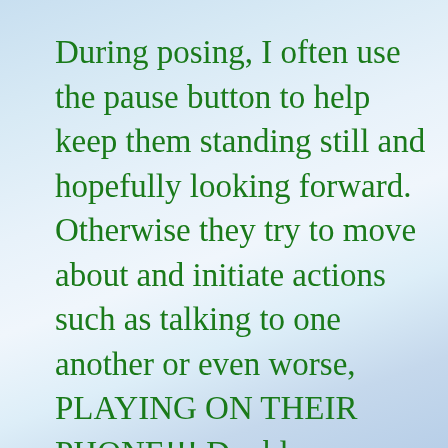During posing, I often use the pause button to help keep them standing still and hopefully looking forward. Otherwise they try to move about and initiate actions such as talking to one another or even worse, PLAYING ON THEIR PHONE!!!  Double GRRRRR!